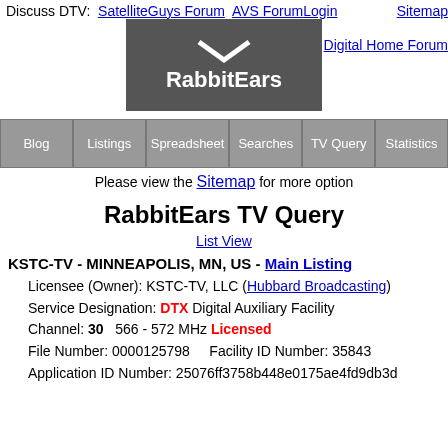Discuss DTV: SatelliteGuys Forum  AVS Forum  Login  Sitemap  Digital Home Forum
[Figure (logo): RabbitEars logo — dark grey box with white chevron and white bold text 'RabbitEars']
Blog | Listings | Spreadsheet | Searches | TV Query | Statistics
Please view the Sitemap for more options
RabbitEars TV Query
List View
KSTC-TV - MINNEAPOLIS, MN, US - Main Listing
Licensee (Owner): KSTC-TV, LLC (Hubbard Broadcasting)
Service Designation: DTX Digital Auxiliary Facility
Channel: 30  566 - 572 MHz  Licensed
File Number: 0000125798   Facility ID Number: 35843
Application ID Number: 25076ff3758b448e0175ae4fd9db3d...